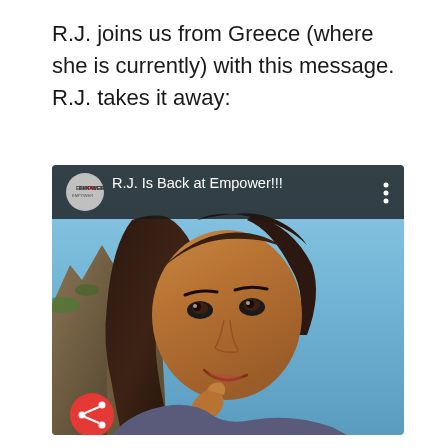R.J. joins us from Greece (where she is currently) with this message. R.J. takes it away:
[Figure (screenshot): Video thumbnail screenshot showing a woman with dark hair smiling outdoors in Greece with rocky cliffs and blue sky in the background. The video is from Empower channel and titled 'R.J. Is Back at Empower!!!' with a share button and three-dot menu visible.]